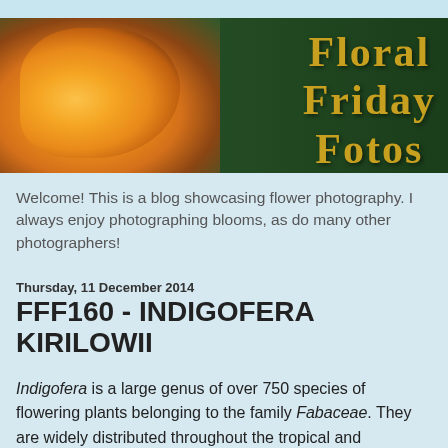[Figure (illustration): Banner image with orange/yellow rose on dark green background and text 'Floral Friday Fotos' in gold serif font]
Welcome! This is a blog showcasing flower photography. I always enjoy photographing blooms, as do many other photographers!
Thursday, 11 December 2014
FFF160 - INDIGOFERA KIRILOWII
Indigofera is a large genus of over 750 species of flowering plants belonging to the family Fabaceae. They are widely distributed throughout the tropical and subtropical regions of the world. Species of Indigofera are mostly shrubs, though some are small trees or annual or perennial herbs. Most have pinnate leaves. Racemes of flowers grow in the leaf